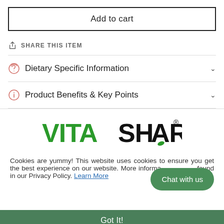Add to cart
SHARE THIS ITEM
Dietary Specific Information
Product Benefits & Key Points
[Figure (logo): Vita Sharks logo with green VITA text and black SHARKS text with a shark fin leaf icon]
Cookies are yummy! This website uses cookies to ensure you get the best experience on our website. More information can be found in our Privacy Policy. Learn More
Chat with us
Got It!